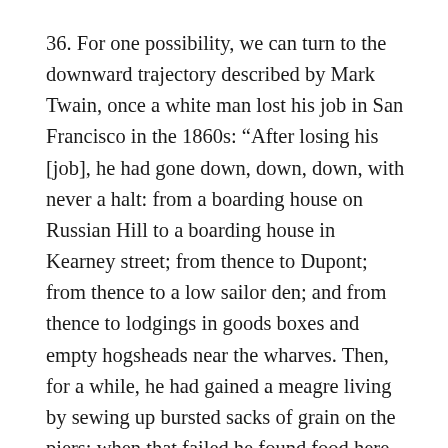36. For one possibility, we can turn to the downward trajectory described by Mark Twain, once a white man lost his job in San Francisco in the 1860s: “After losing his [job], he had gone down, down, down, with never a halt: from a boarding house on Russian Hill to a boarding house in Kearney street; from thence to Dupont; from thence to a low sailor den; and from thence to lodgings in goods boxes and empty hogsheads near the wharves. Then, for a while, he had gained a meagre living by sewing up bursted sacks of grain on the piers; when that failed he found food here and there as chance threw it in his way.” Mark Twain, Roughing It (New York: Hippocrene Books;